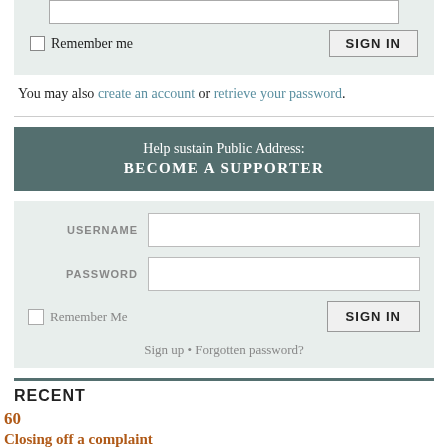You may also create an account or retrieve your password.
[Figure (screenshot): Help sustain Public Address: BECOME A SUPPORTER banner in dark teal]
USERNAME
PASSWORD
Remember Me
SIGN IN
Sign up • Forgotten password?
RECENT
60
Closing off a complaint